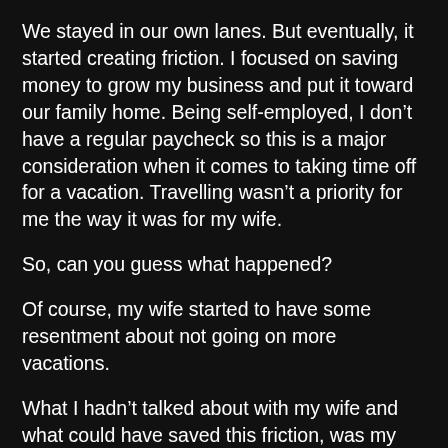We stayed in our own lanes. But eventually, it started creating friction. I focused on saving money to grow my business and put it toward our family home. Being self-employed, I don't have a regular paycheck so this is a major consideration when it comes to taking time off for a vacation. Travelling wasn't a priority for me the way it was for my wife.
So, can you guess what happened?
Of course, my wife started to have some resentment about not going on more vacations.
What I hadn't talked about with my wife and what could have saved this friction, was my thought process behind “not wanting” to go on more vacations.
It wasn't about not wanting to travel. I was stressed